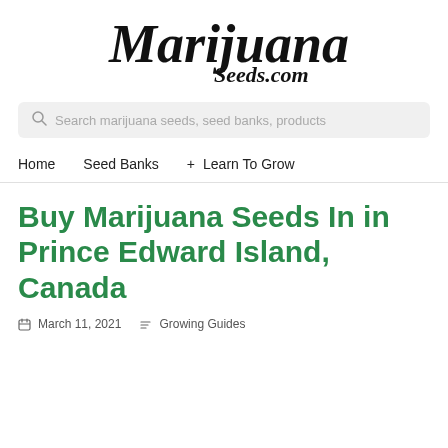[Figure (logo): Marijuana Seeds.com logo in cursive/script black handwritten font]
Search marijuana seeds, seed banks, products
Home   Seed Banks +   Learn To Grow
Buy Marijuana Seeds In in Prince Edward Island, Canada
March 11, 2021   Growing Guides